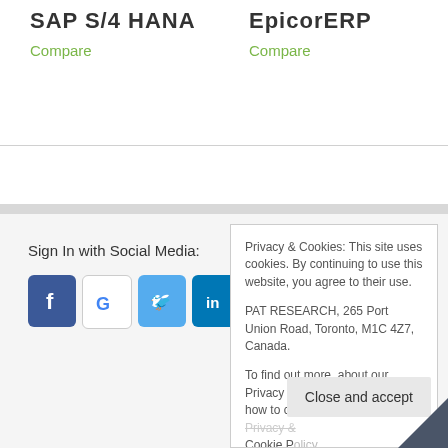SAP S/4 HANA
Compare
EpicorERP
Compare
Sign In with Social Media:
[Figure (screenshot): Social media sign-in icons: Facebook, Google, Twitter, LinkedIn]
Privacy & Cookies: This site uses cookies. By continuing to use this website, you agree to their use.

PAT RESEARCH, 265 Port Union Road, Toronto, M1C 4Z7, Canada.

To find out more, about our Privacy Policy, and ToS including how to control cookies, see here: Privacy & Cookie Policy
Close and accept